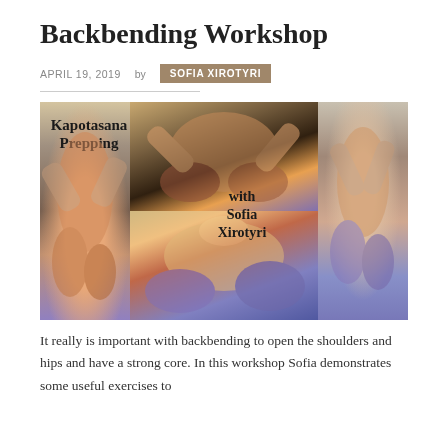Backbending Workshop
APRIL 19, 2019   by   SOFIA XIROTYRI
[Figure (photo): Composite image showing yoga backbending poses labeled 'Kapotasana Prepping with Sofia Xirotyri'. Multiple panels show a woman in colorful yoga attire performing backbends and pigeon pose preparations on a pink yoga mat.]
It really is important with backbending to open the shoulders and hips and have a strong core. In this workshop Sofia demonstrates some useful exercises to